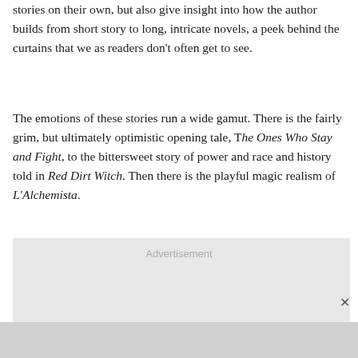stories on their own, but also give insight into how the author builds from short story to long, intricate novels, a peek behind the curtains that we as readers don't often get to see.
The emotions of these stories run a wide gamut. There is the fairly grim, but ultimately optimistic opening tale, The Ones Who Stay and Fight, to the bittersweet story of power and race and history told in Red Dirt Witch. Then there is the playful magic realism of L'Alchemista.
Advertisement